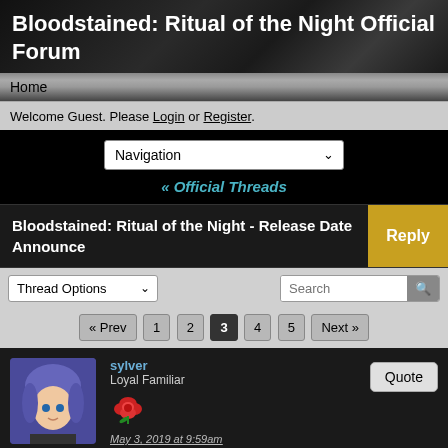Bloodstained: Ritual of the Night Official Forum
Home
Welcome Guest. Please Login or Register.
Navigation (dropdown)
« Official Threads
Bloodstained: Ritual of the Night - Release Date Announce
Reply
Thread Options  Search
« Prev  1  2  3  4  5  Next »
sylver
Loyal Familiar
May 3, 2019 at 9:59am
roguedragon05 and gunlord500 like this
Quote